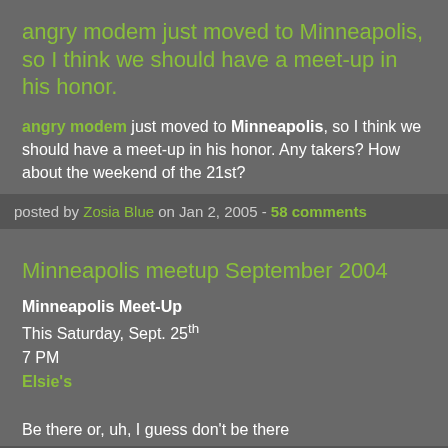angry modem just moved to Minneapolis, so I think we should have a meet-up in his honor.
angry modem just moved to Minneapolis, so I think we should have a meet-up in his honor. Any takers? How about the weekend of the 21st?
posted by Zosia Blue on Jan 2, 2005 - 58 comments
Minneapolis meetup September 2004
Minneapolis Meet-Up
This Saturday, Sept. 25th
7 PM
Elsie's
Be there or, uh, I guess don't be there
posted by Zosia Blue on Sep 22, 2004 - 13 comments